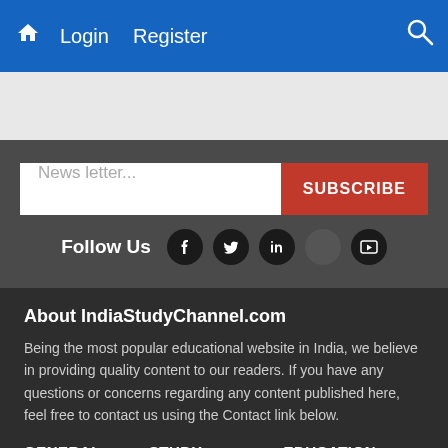Home  Login  Register  [Search]
News letter...
SUBSCRIBE
Follow Us
About IndiaStudyChannel.com
Being the most popular educational website in India, we believe in providing quality content to our readers. If you have any questions or concerns regarding any content published here, feel free to contact us using the Contact link below.
GENERAL    STUDY ABROAD    EDUCATION